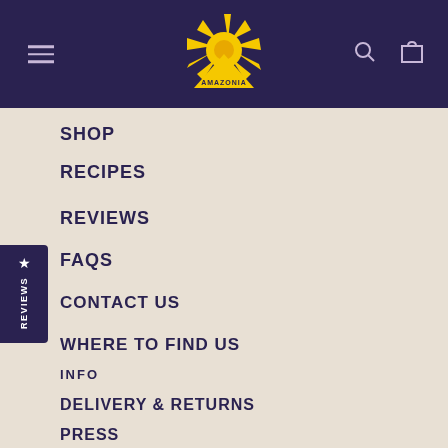[Figure (logo): Amazonia brand logo with yellow sun icon and text AMAZONIA on dark purple header bar]
SHOP
RECIPES
REVIEWS
FAQs
CONTACT US
WHERE TO FIND US
INFO
DELIVERY & RETURNS
PRESS